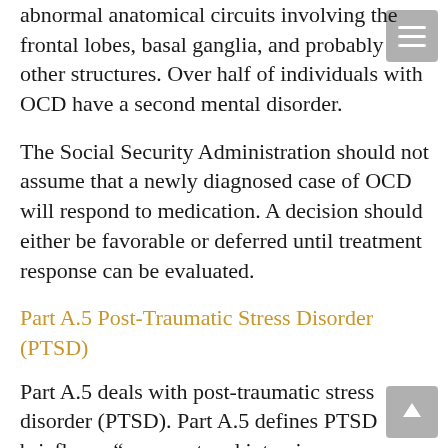abnormal anatomical circuits involving the frontal lobes, basal ganglia, and probably other structures. Over half of individuals with OCD have a second mental disorder.
The Social Security Administration should not assume that a newly diagnosed case of OCD will respond to medication. A decision should either be favorable or deferred until treatment response can be evaluated.
Part A.5 Post-Traumatic Stress Disorder (PTSD)
Part A.5 deals with post-traumatic stress disorder (PTSD). Part A.5 defines PTSD briefly as, “recurrent and intrusive recollections of a traumatic experience, which are a source of